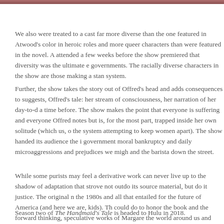[Figure (photo): Cropped photo strip at top of page, showing partial image of a person.]
We also were treated to a cast far more diverse than the one featured in Atwood's color in heroic roles and more queer characters than were featured in the novel. A attended a few weeks before the show premiered that diversity was the ultimate e governments. The racially diverse characters in the show are those making a stan system.
Further, the show takes the story out of Offred's head and adds consequences to suggests, Offred's tale: her stream of consciousness, her narration of her day-to-d a time before. The show makes the point that everyone is suffering and everyone Offred notes but is, for the most part, trapped inside her own solitude (which us, o the system attempting to keep women apart). The show handed its audience the i government moral bankruptcy and daily microaggressions and prejudices we migh and the barista down the street.
While some purists may feel a derivative work can never live up to the shadow of adaptation that strove not outdo its source material, but do it justice. The original n the 1980s and all that entailed for the future of America (and here we are, kids). Th could do to honor the book and the forward thinking, speculative works of Margare the world around us and where we are headed if we don't do something. If we don
Season two of The Handmaid's Tale is headed to Hulu in 2018.